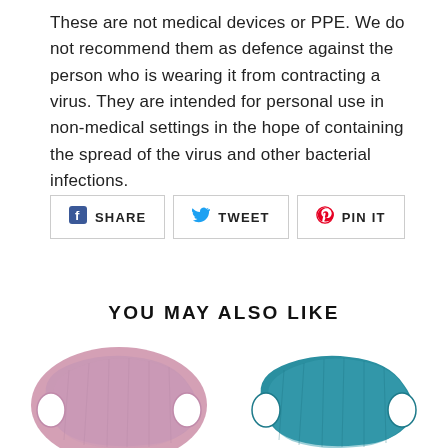These are not medical devices or PPE. We do not recommend them as defence against the person who is wearing it from contracting a virus. They are intended for personal use in non-medical settings in the hope of containing the spread of the virus and other bacterial infections.
[Figure (infographic): Social sharing buttons: Facebook SHARE, Twitter TWEET, Pinterest PIN IT]
YOU MAY ALSO LIKE
[Figure (photo): Pink fabric face mask on white background]
[Figure (photo): Teal/blue fabric face mask on white background]